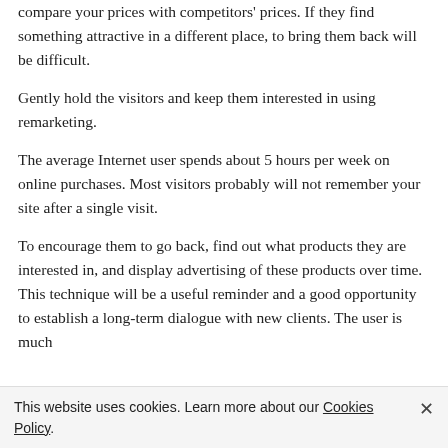compare your prices with competitors' prices. If they find something attractive in a different place, to bring them back will be difficult.
Gently hold the visitors and keep them interested in using remarketing.
The average Internet user spends about 5 hours per week on online purchases. Most visitors probably will not remember your site after a single visit.
To encourage them to go back, find out what products they are interested in, and display advertising of these products over time. This technique will be a useful reminder and a good opportunity to establish a long-term dialogue with new clients. The user is much
This website uses cookies. Learn more about our Cookies Policy.